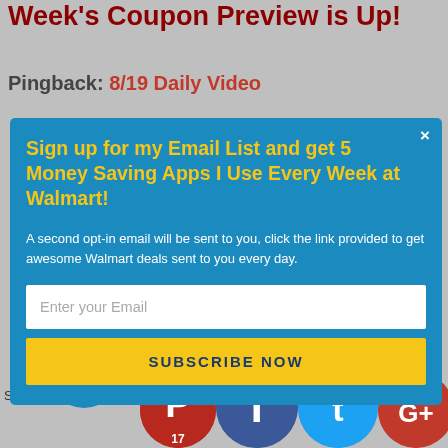Week's Coupon Preview is Up!
Pingback: 8/19 Daily Video
[Figure (screenshot): Email signup modal popup with blue background. Headline in yellow: 'Sign up for my Email List and get 5 Money Saving Apps I Use Every Week at Walmart!' Body text in white: 'A second opt-in email will be sent to you, click the link provided to get awesome Walmart deals sent to you every day.' Email input field with placeholder 'Enter your Email' and yellow 'SUBSCRIBE NOW' button.]
Mike Kane says:
17
Shares
[Figure (infographic): Social sharing icons row: Pinterest (red, showing 17), Facebook (dark blue), Twitter (light blue), Google+ (red), and a dark blue crown icon. Also a SUMO badge (white pill with crown). A partial blue circle icon on the far left.]